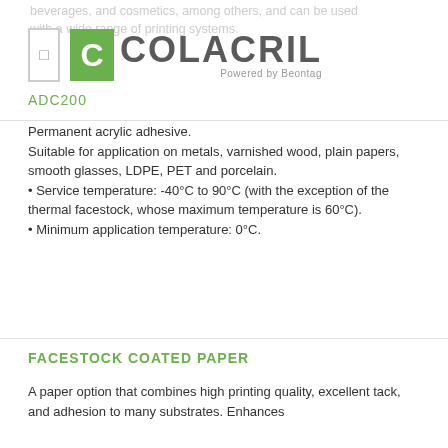beverages, and cosmetics, among others, and can be used with a wide range of printing systems.
[Figure (logo): Colacril logo with green C icon and 'Powered by Beontag' tagline]
ADC200
Permanent acrylic adhesive. Suitable for application on metals, varnished wood, plain papers, smooth glasses, LDPE, PET and porcelain. • Service temperature: -40°C to 90°C (with the exception of the thermal facestock, whose maximum temperature is 60°C). • Minimum application temperature: 0°C.
FACESTOCK COATED PAPER
A paper option that combines high printing quality, excellent tack, and adhesion to many substrates. Enhances